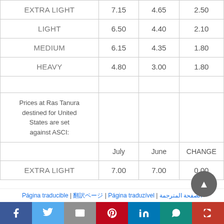|  | July | June | CHANGE |
| --- | --- | --- | --- |
| EXTRA LIGHT | 7.15 | 4.65 | 2.50 |
| LIGHT | 6.50 | 4.40 | 2.10 |
| MEDIUM | 6.15 | 4.35 | 1.80 |
| HEAVY | 4.80 | 3.00 | 1.80 |
| Prices at Ras Tanura destined for United States are set against ASCI: |  |  |  |
|  | July | June | CHANGE |
| EXTRA LIGHT | 7.00 | 7.00 | 0.00 |
Página traducible | 翻訳ページ | Página traduzível | الصفحة المترجمة